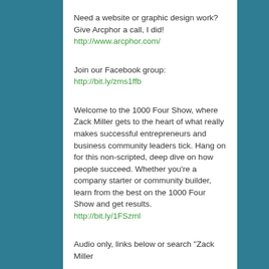Need a website or graphic design work? Give Arcphor a call, I did! http://www.arcphor.com/
Join our Facebook group: http://bit.ly/zms1ffb
Welcome to the 1000 Four Show, where Zack Miller gets to the heart of what really makes successful entrepreneurs and business community leaders tick. Hang on for this non-scripted, deep dive on how people succeed. Whether you're a company starter or community builder, learn from the best on the 1000 Four Show and get results. http://bit.ly/1FSzml
Audio only, links below or search "Zack Miller